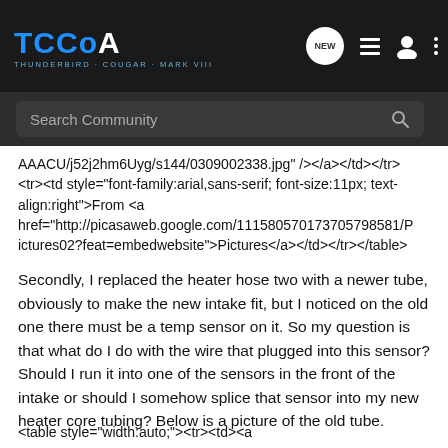TCCoA — THUNDERBIRD · COUGAR · MARK VIII (navigation header with search bar)
AAACU/j52j2hm6Uyg/s144/0309002338.jpg" /></a></td></tr><tr><td style="font-family:arial,sans-serif; font-size:11px; text-align:right">From <a href="http://picasaweb.google.com/111580570173705798581/Pictures02?feat=embedwebsite">Pictures</a></td></tr></table>
Secondly, I replaced the heater hose two with a newer tube, obviously to make the new intake fit, but I noticed on the old one there must be a temp sensor on it. So my question is that what do I do with the wire that plugged into this sensor? Should I run it into one of the sensors in the front of the intake or should I somehow splice that sensor into my new heater core tubing? Below is a picture of the old tube.
<table style="width:auto;"><tr><td><a